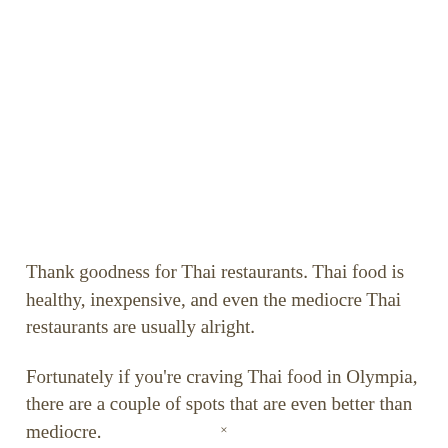Thank goodness for Thai restaurants. Thai food is healthy, inexpensive, and even the mediocre Thai restaurants are usually alright.
Fortunately if you're craving Thai food in Olympia, there are a couple of spots that are even better than mediocre.
×